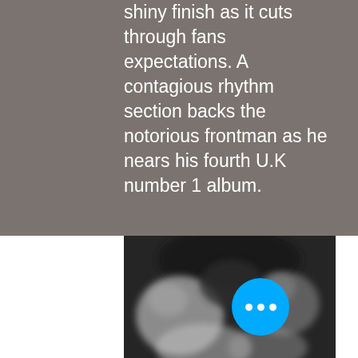shiny finish as it cuts through fans expectations. A contagious rhythm section backs the notorious frontman as he nears his fourth U.K number 1 album.
[Figure (photo): Blurry black and white photograph of people, possibly a crowd or band members, with dark background. A blue circular button with three white dots (more options) overlays the bottom right corner.]